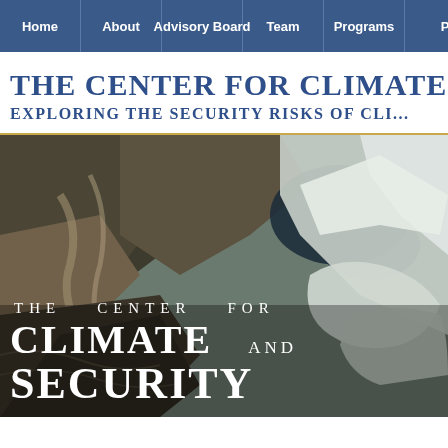Home | About | Advisory Board | Team | Programs | P...
THE CENTER FOR CLIMATE
EXPLORING THE SECURITY RISKS OF CLI...
[Figure (photo): Aerial/satellite view of mountainous terrain with snow and glaciers, overlaid with white text reading 'THE CENTER FOR CLIMATE AND SECURITY']